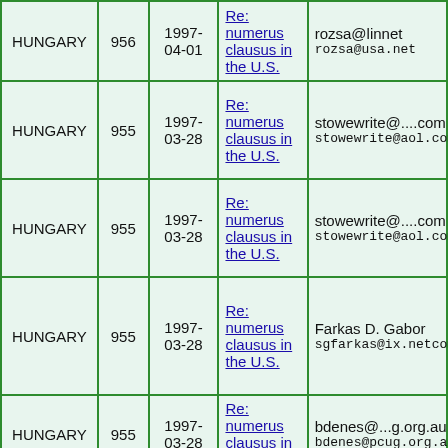| Country | Num | Date | Subject | Contact |
| --- | --- | --- | --- | --- |
| HUNGARY | 956 | 1997-04-01 | Re: numerus clausus in the U.S. | rozsa@linnet
rozsa@usa.net |
| HUNGARY | 955 | 1997-03-28 | Re: numerus clausus in the U.S. | stowewrite@....com
stowewrite@aol.com |
| HUNGARY | 955 | 1997-03-28 | Re: numerus clausus in the U.S. | stowewrite@....com
stowewrite@aol.com |
| HUNGARY | 955 | 1997-03-28 | Re: numerus clausus in the U.S. | Farkas D. Gabor
sgfarkas@ix.netcom.co |
| HUNGARY | 955 | 1997-03-28 | Re: numerus clausus in the U.S. | bdenes@...g.org.au
bdenes@pcug.org.au |